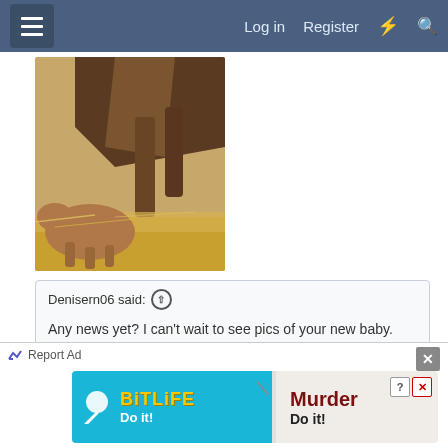☰  Log in  Register  ⚡  🔍
[Figure (photo): Photo of a newborn foal with an adult horse standing over it on sandy hay-covered ground]
Denisern06 said: ↑
Any news yet? I can't wait to see pics of your new baby. 🙂
We have a baby!!!!! Born this morning around 7am.
[Figure (screenshot): BitLife Murder Do it! advertisement banner]